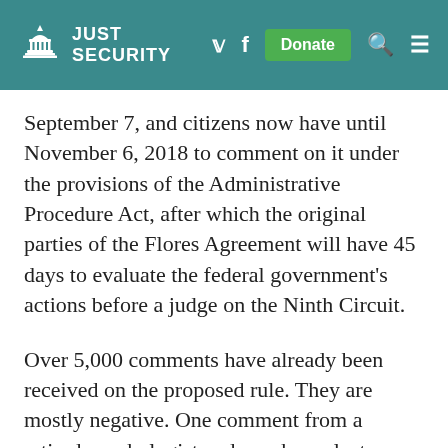JUST SECURITY
September 7, and citizens now have until November 6, 2018 to comment on it under the provisions of the Administrative Procedure Act, after which the original parties of the Flores Agreement will have 45 days to evaluate the federal government's actions before a judge on the Ninth Circuit.
Over 5,000 comments have already been received on the proposed rule. They are mostly negative. One comment from a retired psychologist and psychoanalyst implored the federal government not to implement the new